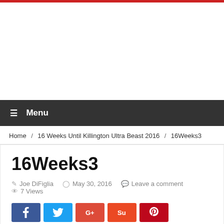[Figure (other): Advertisement/empty ad banner area]
☰  Menu
Home / 16 Weeks Until Killington Ultra Beast 2016 / 16Weeks3
16Weeks3
Joe DiFiglia   May 30, 2016   Leave a comment   7 Views
[Figure (other): Social share buttons: Facebook, Twitter, Google+, StumbleUpon, Pinterest]